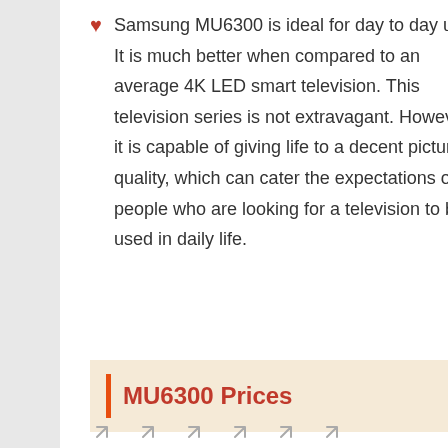Samsung MU6300 is ideal for day to day use. It is much better when compared to an average 4K LED smart television. This television series is not extravagant. However, it is capable of giving life to a decent picture quality, which can cater the expectations of people who are looking for a television to be used in daily life.
MU6300 Prices